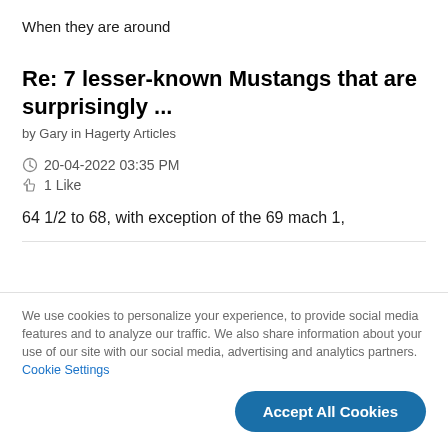When they are around
Re: 7 lesser-known Mustangs that are surprisingly ...
by Gary in Hagerty Articles
20-04-2022 03:35 PM
1 Like
64 1/2 to 68, with exception of the 69 mach 1,
We use cookies to personalize your experience, to provide social media features and to analyze our traffic. We also share information about your use of our site with our social media, advertising and analytics partners. Cookie Settings
Accept All Cookies